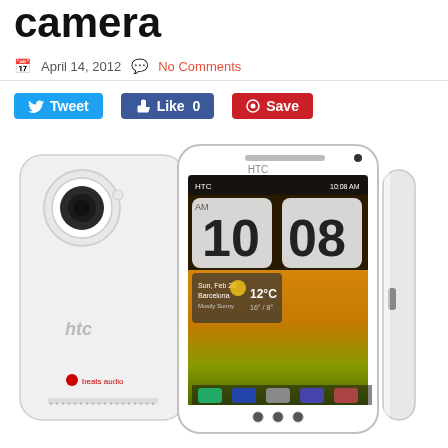camera
April 14, 2012  No Comments
[Figure (photo): HTC One X smartphone shown from three angles: back view showing camera and HTC logo with Beats Audio branding, front view showing the home screen with clock displaying 10:08 AM and weather widget showing Barcelona 12°C, and a side profile view. The phone is white.]